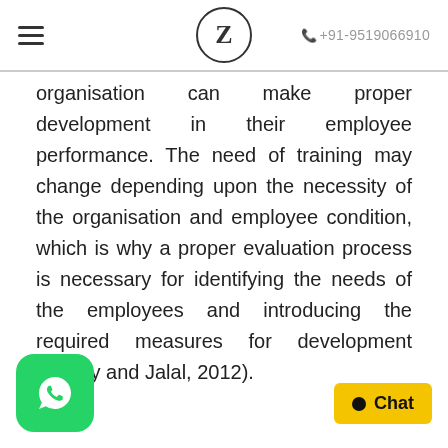≡   Z   +91-9519066910
organisation can make proper development in their employee performance. The need of training may change depending upon the necessity of the organisation and employee condition, which is why a proper evaluation process is necessary for identifying the needs of the employees and introducing the required measures for development (Dubey and Jalal, 2012).
[Figure (logo): WhatsApp chat button icon (green rounded square with white phone/chat icon)]
[Figure (logo): Yellow Chat button with black dot and text 'Chat']